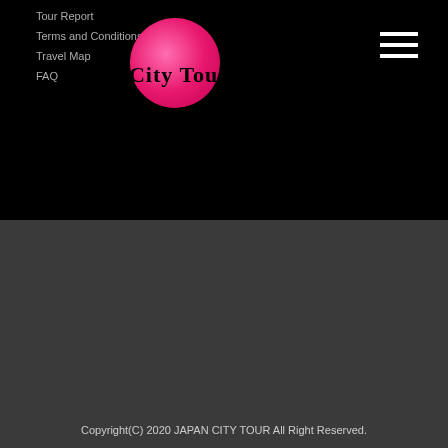Tour Report
Terms and Conditions
Travel Map
FAQ
[Figure (logo): Japan City Tour logo with pink circle and text]
Travel agency  |  Terms and Conditions  |  Travel law
🇯🇵 Tokyo City Tour  |  🇺🇸🇬🇧 Japan City Tour  |  🇫🇷 Voyage au Japon  |  🇪🇸 Viaje a Japón  |  Website Multilingual  |  Japan Avatar Guide
Copyright(C) 2020 JAPAN CITY TOUR All Right Reserved.